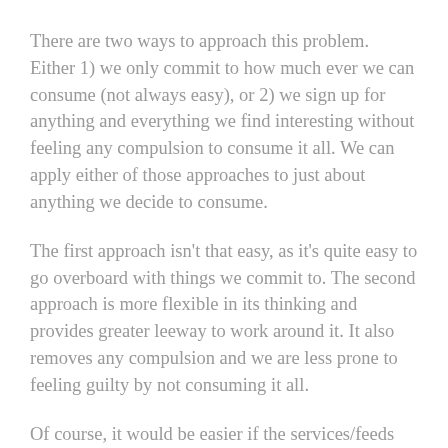There are two ways to approach this problem. Either 1) we only commit to how much ever we can consume (not always easy), or 2) we sign up for anything and everything we find interesting without feeling any compulsion to consume it all. We can apply either of those approaches to just about anything we decide to consume.
The first approach isn't that easy, as it's quite easy to go overboard with things we commit to. The second approach is more flexible in its thinking and provides greater leeway to work around it. It also removes any compulsion and we are less prone to feeling guilty by not consuming it all.
Of course, it would be easier if the services/feeds we signed up for allowed us that freedom by design, but even when they don't, we can still take the manual approach. For instance, I could choose to ignore my Twitter feed (including the Unread Tweets count) for